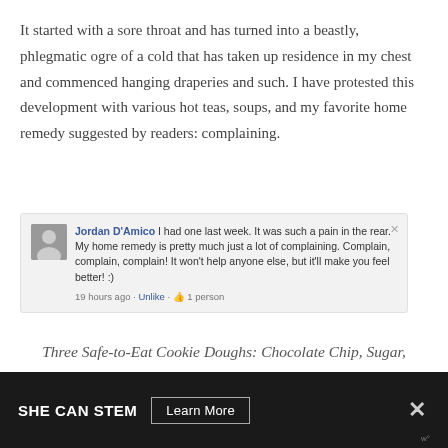It started with a sore throat and has turned into a beastly, phlegmatic ogre of a cold that has taken up residence in my chest and commenced hanging draperies and such. I have protested this development with various hot teas, soups, and my favorite home remedy suggested by readers: complaining.
[Figure (screenshot): Facebook comment screenshot from Jordan D'Amico: 'I had one last week. It was such a pain in the rear. My home remedy is pretty much just a lot of complaining. Complain, complain, complain! It won't help anyone else, but it'll make you feel better! :)' with timestamp '19 hours ago · Unlike · 1 person']
Three Safe-to-Eat Cookie Doughs: Chocolate Chip, Sugar, and Cake Batter!
I know my students are to blame for this plague! They've been dropping like flies recently. A wave of 6th graders …
[Figure (screenshot): Advertisement banner: SHE CAN STEM with 'Learn More' button and close X, on dark background]